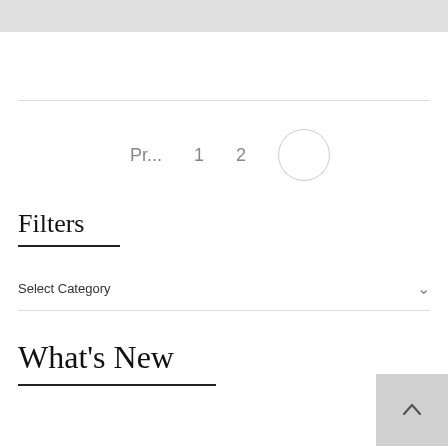[Figure (screenshot): Gray bar at top of page, part of a website UI]
Pr... 1 2 (circle button) — pagination controls
Filters
Select Category
What's New